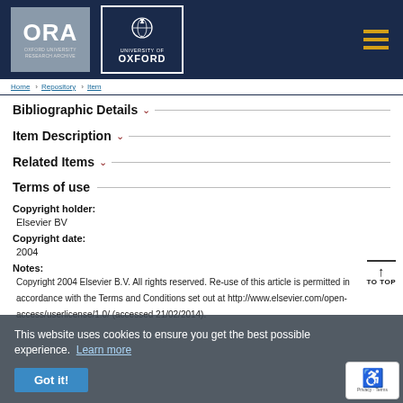[Figure (logo): ORA Oxford University Research Archive logo and University of Oxford crest logo on dark navy header bar with hamburger menu icon]
Navigation breadcrumb strip
Bibliographic Details
Item Description
Related Items
Terms of use
Copyright holder:
Elsevier BV
Copyright date:
2004
Notes:
Copyright 2004 Elsevier B.V. All rights reserved. Re-use of this article is permitted in accordance with the Terms and Conditions set out at http://www.elsevier.com/open-access/userlicense/1.0/ (accessed 21/02/2014).
This website uses cookies to ensure you get the best possible experience. Learn more